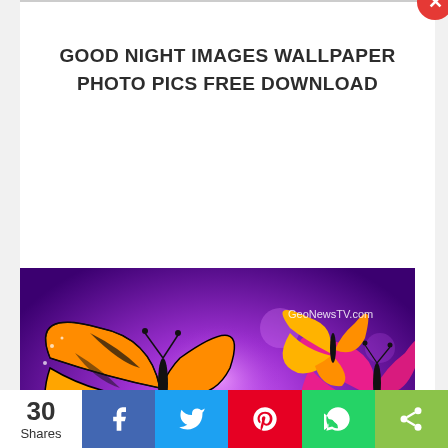GOOD NIGHT IMAGES WALLPAPER PHOTO PICS FREE DOWNLOAD
[Figure (photo): Colorful butterflies (monarch orange/black, pink, and dark) flying against a glowing purple bokeh background. Watermark reads GeoNewsTV.com in top right.]